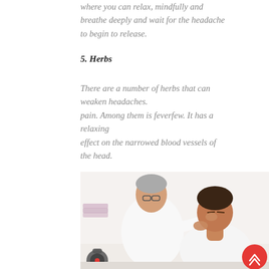where you can relax, mindfully and breathe deeply and wait for the headache to begin to release.
5. Herbs
There are a number of herbs that can weaken headaches. pain. Among them is feverfew. It has a relaxing effect on the narrowed blood vessels of the head.
[Figure (photo): A physiotherapist or chiropractor treating a young male patient's neck and shoulder area in a clinical setting. The therapist is an older man with grey hair and glasses wearing a white shirt, and the patient is a young man with eyes closed.]